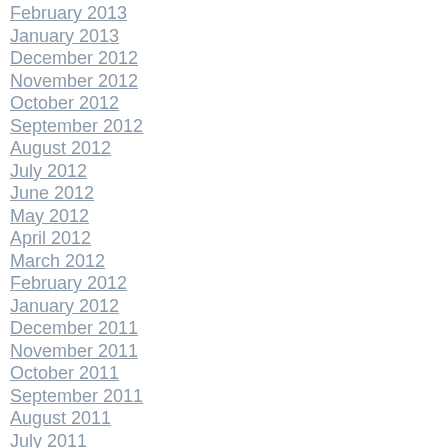February 2013
January 2013
December 2012
November 2012
October 2012
September 2012
August 2012
July 2012
June 2012
May 2012
April 2012
March 2012
February 2012
January 2012
December 2011
November 2011
October 2011
September 2011
August 2011
July 2011
June 2011
May 2011
April 2011
March 2011